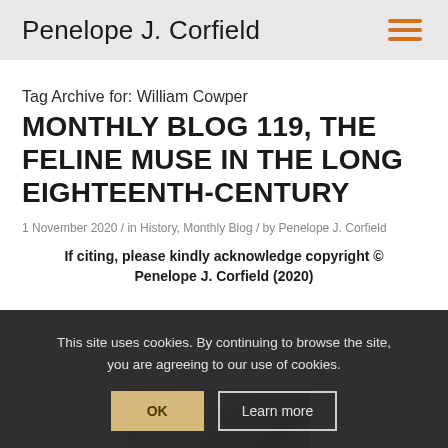Penelope J. Corfield
Tag Archive for: William Cowper
MONTHLY BLOG 119, THE FELINE MUSE IN THE LONG EIGHTEENTH-CENTURY
1 November 2020 / in History, Monthly Blog / by Penelope J. Corfield
If citing, please kindly acknowledge copyright © Penelope J. Corfield (2020)
This site uses cookies. By continuing to browse the site, you are agreeing to our use of cookies.
[Figure (photo): Partial view of a photograph at the bottom of the page, appears to be a black and white image]